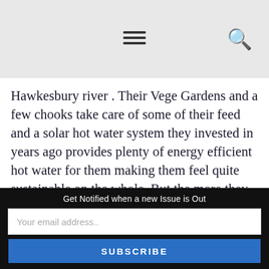Navigation menu and search icon
Hawkesbury river . Their Vege Gardens and a few chooks take care of some of their feed and a solar hot water system they invested in years ago provides plenty of energy efficient hot water for them making them feel quite sustainable on the whole. But the more they questioned whether they were doing enough the more they liked the idea of solar power and looked to make the move into the solar power way of life. After learning
Get Notified when a new Issue is Out